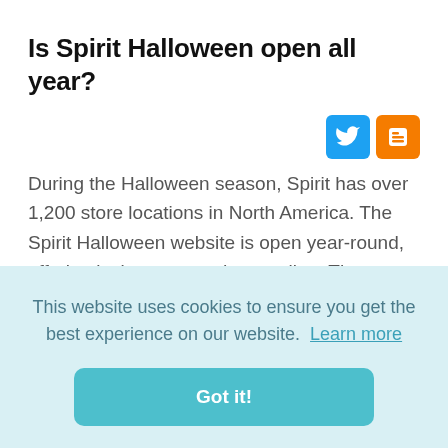Is Spirit Halloween open all year?
[Figure (other): Twitter and Blogger social share icons]
During the Halloween season, Spirit has over 1,200 store locations in North America. The Spirit Halloween website is open year-round, offering its in-store products online. The stores typically operate for 60 to 90 days, opening sometime in early to mid-August and usually closing two or three days
This website uses cookies to ensure you get the best experience on our website. Learn more
Got it!